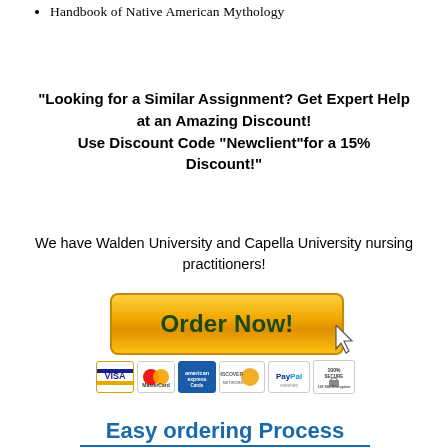Handbook of Native American Mythology
“Looking for a Similar Assignment? Get Expert Help at an Amazing Discount! Use Discount Code “Newclient”for a 15% Discount!”
We have Walden University and Capella University nursing practitioners!
[Figure (infographic): Orange gradient 'Order Now!' button with a cursor arrow icon]
[Figure (infographic): Payment method icons: VISA, MasterCard, American Express, Discover, PayPal, 100% Secure 128 SSL Encryption]
Easy ordering Process